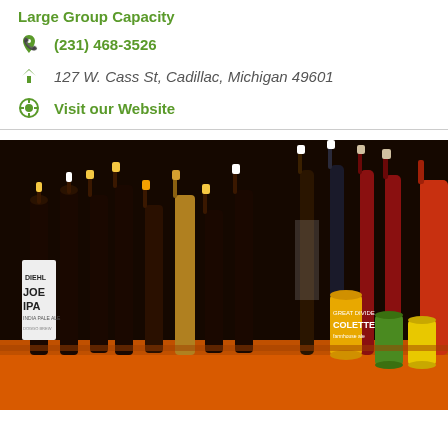Large Group Capacity
(231) 468-3526
127 W. Cass St, Cadillac, Michigan 49601
Visit our Website
[Figure (photo): Photo of numerous beer bottles and cans and wine bottles arranged on an orange surface against a dark background, including labels like Joe IPA, Colette, and others.]